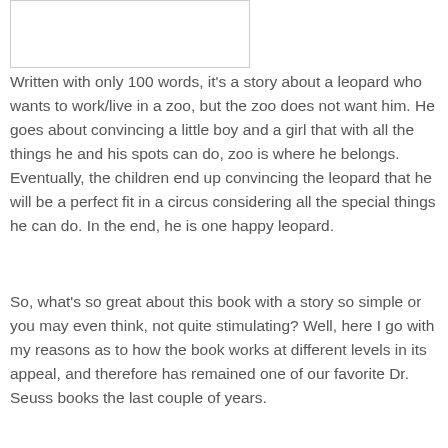[Figure (other): Partial image of a book cover, cropped at top]
Written with only 100 words, it's a story about a leopard who wants to work/live in a zoo, but the zoo does not want him. He goes about convincing a little boy and a girl that with all the things he and his spots can do, zoo is where he belongs. Eventually, the children end up convincing the leopard that he will be a perfect fit in a circus considering all the special things he can do. In the end, he is one happy leopard.
So, what's so great about this book with a story so simple or you may even think, not quite stimulating? Well, here I go with my reasons as to how the book works at different levels in its appeal, and therefore has remained one of our favorite Dr. Seuss books the last couple of years.